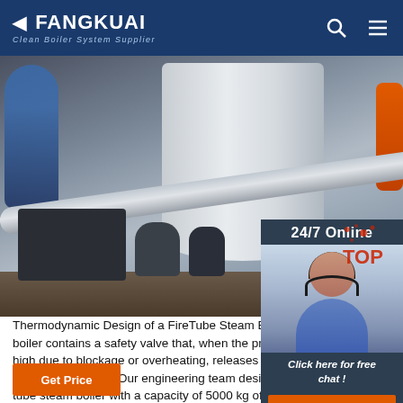FANGKUAI Clean Boiler System Supplier
[Figure (photo): Industrial boiler facility with a large white cylindrical tank, pipes, valves, and a worker in blue shirt. An online chat panel on the right shows a customer service representative with headset, '24/7 Online' text, 'Click here for free chat!' text, and an orange QUOTATION button.]
Thermodynamic Design of a FireTube Steam Boiler 2017-12-22 · boiler contains a safety valve that, when the pressure becomes too high due to blockage or overheating, releases the excess steam. Project Description Our engineering team designed a threepass fire tube steam boiler with a capacity of 5000 kg of steam per hour and a operating pressure of 10 bar.
Get Price